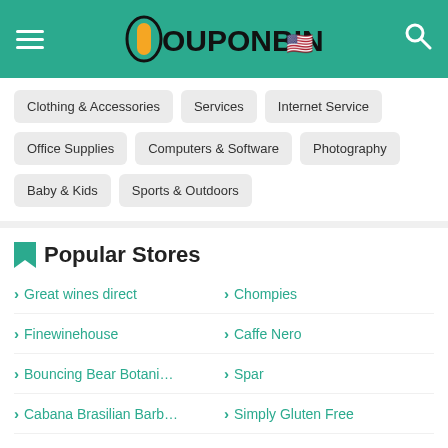CouponBind
Clothing & Accessories
Services
Internet Service
Office Supplies
Computers & Software
Photography
Baby & Kids
Sports & Outdoors
Popular Stores
Great wines direct
Chompies
Finewinehouse
Caffe Nero
Bouncing Bear Botanicals
Spar
Cabana Brasilian Barbec...
Simply Gluten Free
Supplement Warehouse A...
Squisito Pizza & Pasta
Jeramiah's Italian Ice...
Crum Creek...